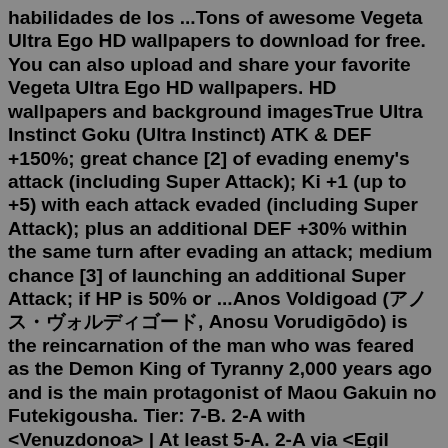habilidades de los ...Tons of awesome Vegeta Ultra Ego HD wallpapers to download for free. You can also upload and share your favorite Vegeta Ultra Ego HD wallpapers. HD wallpapers and background imagesTrue Ultra Instinct Goku (Ultra Instinct) ATK & DEF +150%; great chance [2] of evading enemy's attack (including Super Attack); Ki +1 (up to +5) with each attack evaded (including Super Attack); plus an additional DEF +30% within the same turn after evading an attack; medium chance [3] of launching an additional Super Attack; if HP is 50% or ...Anos Voldigoad (アノス・ヴォルディゴード, Anosu Vorudigōdo) is the reincarnation of the man who was feared as the Demon King of Tyranny 2,000 years ago and is the main protagonist of Maou Gakuin no Futekigousha. Tier: 7-B. 2-A with <Venuzdonoa> | At least 5-A. 2-A via <Egil Grone Angdroa>. Higher via <Gilieriam Naviem>. 2-A with <Venuzdonoa> | 2-A. 2-A with <Venuzdonoa> | Unknown ...27 parts. Ongoing. Daiko is a saiyan born from Raditz and an unknown female